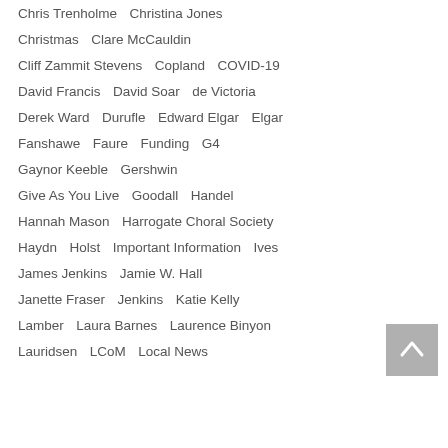Chris Trenholme   Christina Jones
Christmas   Clare McCauldin
Cliff Zammit Stevens   Copland   COVID-19
David Francis   David Soar   de Victoria
Derek Ward   Durufle   Edward Elgar   Elgar
Fanshawe   Faure   Funding   G4
Gaynor Keeble   Gershwin
Give As You Live   Goodall   Handel
Hannah Mason   Harrogate Choral Society
Haydn   Holst   Important Information   Ives
James Jenkins   Jamie W. Hall
Janette Fraser   Jenkins   Katie Kelly
Lamber   Laura Barnes   Laurence Binyon
Lauridsen   LCoM   Local News
[Figure (other): Back to top button arrow pointing up, grey square background]